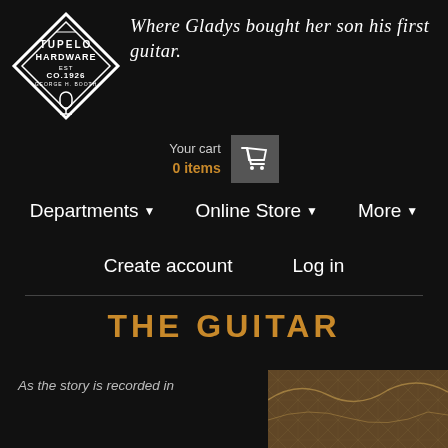[Figure (logo): Tupelo Hardware Co. EST 1926 George H. Booth diamond-shaped logo with microphone icon, white on dark background]
Where Gladys bought her son his first guitar.
Your cart
0 items
[Figure (infographic): Shopping cart icon in grey box]
Departments ▾
Online Store ▾
More ▾
Create account
Log in
THE GUITAR
As the story is recorded in
[Figure (photo): Partial image of a decorative guitar with golden patterned surface visible in lower right corner]